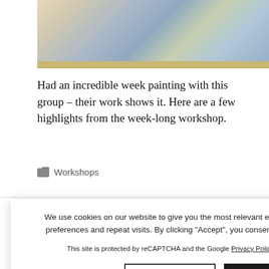[Figure (photo): Group photo of several smiling people in front of a gold-framed picture/painting]
Had an incredible week painting with this group – their work shows it. Here are a few highlights from the week-long workshop.
Workshops
[Figure (illustration): Handwritten cursive signature of the artist]
We use cookies on our website to give you the most relevant experience by remembering your preferences and repeat visits. By clicking "Accept", you consent to the use of ALL the cookies.
This site is protected by reCAPTCHA and the Google Privacy Policy and Terms of Service apply.
Cookie settings   ACCEPT
act
CAUM